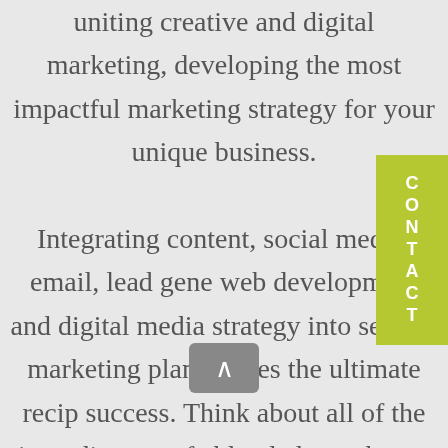uniting creative and digital marketing, developing the most impactful marketing strategy for your unique business. Integrating content, social media, email, lead generation, web development and digital media strategy into a full-service marketing plan creates the ultimate recipe for success. Think about all of the ingredients perfectly blended together to meet your brand's needs. Every sip is smooth—and tastes just as good as it looks. From social and digital media strategy to content creation and execution, ColinKurtis can serve you an array of